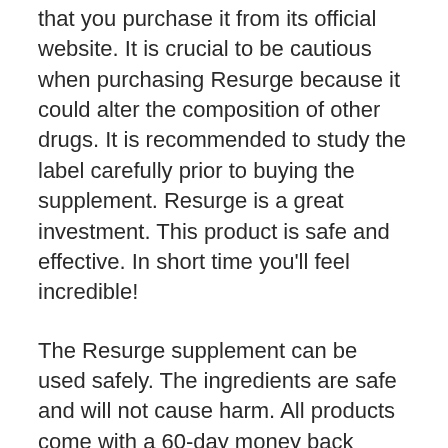that you purchase it from its official website. It is crucial to be cautious when purchasing Resurge because it could alter the composition of other drugs. It is recommended to study the label carefully prior to buying the supplement. Resurge is a great investment. This product is safe and effective. In short time you’ll feel incredible!
The Resurge supplement can be used safely. The ingredients are safe and will not cause harm. All products come with a 60-day money back guarantee. The formula is free of artificial flavors or colors. Additionally the supplement is vegan. This means it is safe to purchase for anyone. It will burn fat within your body before you sleep at night. Resurge has no adverse side effect.